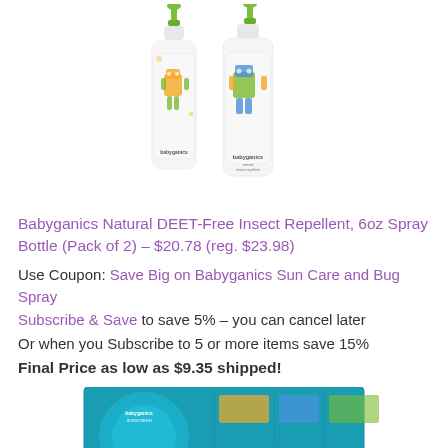[Figure (photo): Two Babyganics Natural DEET-Free Insect Repellent spray bottles with green pump tops and white bodies featuring colorful robot characters]
Babyganics Natural DEET-Free Insect Repellent, 6oz Spray Bottle (Pack of 2) – $20.78 (reg. $23.98)
Use Coupon: Save Big on Babyganics Sun Care and Bug Spray
Subscribe & Save to save 5% – you can cancel later
Or when you Subscribe to 5 or more items save 15%
Final Price as low as $9.35 shipped!
[Figure (photo): Babyganics product box (partially visible at bottom of page)]